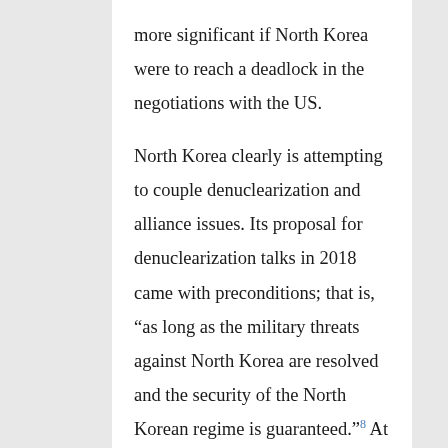more significant if North Korea were to reach a deadlock in the negotiations with the US.
North Korea clearly is attempting to couple denuclearization and alliance issues. Its proposal for denuclearization talks in 2018 came with preconditions; that is, “as long as the military threats against North Korea are resolved and the security of the North Korean regime is guaranteed.”⁸ At the same time, it